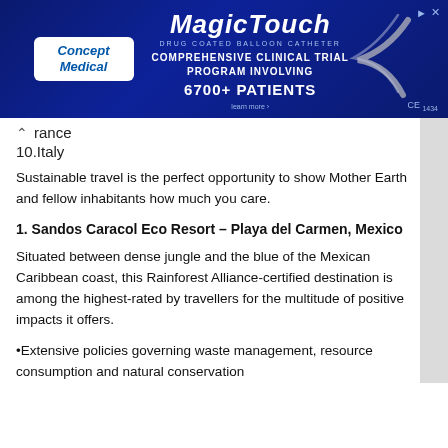[Figure (photo): Advertisement banner for Concept Medical MagicTouch product. Dark blue background with Concept Medical logo in white box on left, MagicTouch brand name in large italic text, text reading COMPREHENSIVE CLINICAL TRIAL PROGRAM INVOLVING 6700+ PATIENTS, decorative silver swish graphic, CE1434 mark, and learn more link.]
rance
10.Italy
Sustainable travel is the perfect opportunity to show Mother Earth and fellow inhabitants how much you care.
1. Sandos Caracol Eco Resort – Playa del Carmen, Mexico
Situated between dense jungle and the blue of the Mexican Caribbean coast, this Rainforest Alliance-certified destination is among the highest-rated by travellers for the multitude of positive impacts it offers.
•Extensive policies governing waste management, resource consumption and natural conservation